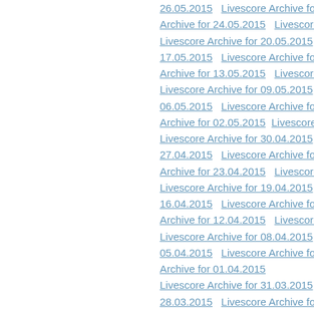Livescore Archive links list (partial): 26.05.2015, 24.05.2015, 20.05.2015, 17.05.2015, 16.05.2015, 13.05.2015, 09.05.2015, 06.05.2015, 05.05.2015, 02.05.2015, 30.04.2015, 27.04.2015, 26.04.2015, 23.04.2015, 19.04.2015, 16.04.2015, 15.04.2015, 12.04.2015, 08.04.2015, 05.04.2015, 04.04.2015, 01.04.2015, 31.03.2015, 28.03.2015, 27.03.2015, 24.03.2015, 20.03.2015, 17.03.2015, 16.03.2015, 13.03.2015, 09.03.2015, 06.03.2015, 05.03.2015, 02.03.2015